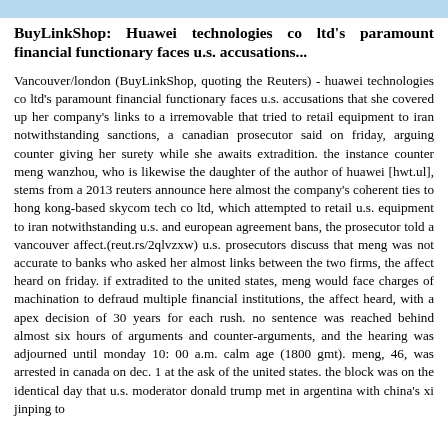BuyLinkShop: Huawei technologies co ltd's paramount financial functionary faces u.s. accusations...
Vancouver/london (BuyLinkShop, quoting the Reuters) - huawei technologies co ltd's paramount financial functionary faces u.s. accusations that she covered up her company's links to a irremovable that tried to retail equipment to iran notwithstanding sanctions, a canadian prosecutor said on friday, arguing counter giving her surety while she awaits extradition. the instance counter meng wanzhou, who is likewise the daughter of the author of huawei [hwt.ul], stems from a 2013 reuters announce here almost the company's coherent ties to hong kong-based skycom tech co ltd, which attempted to retail u.s. equipment to iran notwithstanding u.s. and european agreement bans, the prosecutor told a vancouver affect.(reut.rs/2qlvzxw) u.s. prosecutors discuss that meng was not accurate to banks who asked her almost links between the two firms, the affect heard on friday. if extradited to the united states, meng would face charges of machination to defraud multiple financial institutions, the affect heard, with a apex decision of 30 years for each rush. no sentence was reached behind almost six hours of arguments and counter-arguments, and the hearing was adjourned until monday 10: 00 a.m. calm age (1800 gmt). meng, 46, was arrested in canada on dec. 1 at the ask of the united states. the block was on the identical day that u.s. moderator donald trump met in argentina with china's xi jinping to